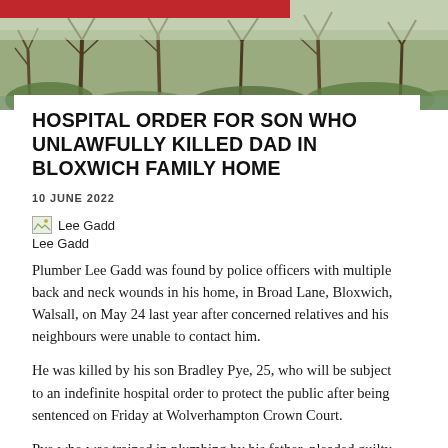[Figure (photo): Outdoor nature scene with bare winter trees and green shrubs near water, used as article hero image]
HOSPITAL ORDER FOR SON WHO UNLAWFULLY KILLED DAD IN BLOXWICH FAMILY HOME
10 JUNE 2022
Lee Gadd
Plumber Lee Gadd was found by police officers with multiple back and neck wounds in his home, in Broad Lane, Bloxwich, Walsall, on May 24 last year after concerned relatives and his neighbours were unable to contact him.
He was killed by his son Bradley Pye, 25, who will be subject to an indefinite hospital order to protect the public after being sentenced on Friday at Wolverhampton Crown Court.
Pye who was trained in plumbing by his father, pleaded guilty to his manslaughter on grounds of diminished